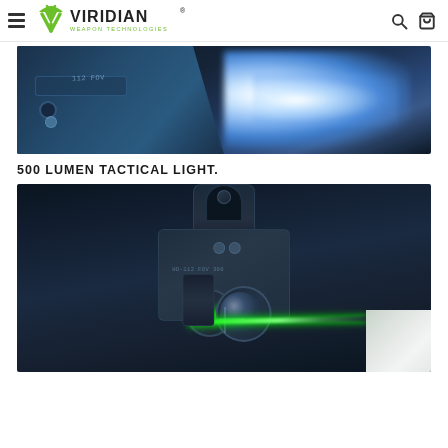Viridian Weapon Technologies — navigation header with hamburger menu, logo, search and cart icons
[Figure (photo): Close-up photo of a Viridian tactical light device emitting a bright white/blue light beam, mounted on a blue-tinted firearm, dark background]
500 LUMEN TACTICAL LIGHT.
[Figure (photo): Close-up photo of a Viridian tactical laser/light device emitting a bright green laser beam, mounted hardware visible, dark background with a white overlay square in bottom-right corner]